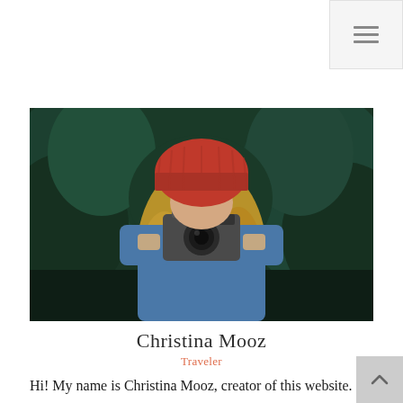Navigation menu icon
[Figure (photo): A woman with long blonde hair wearing a red knit beanie hat and a blue denim jacket, holding a vintage film camera up to her face in front of a green pine tree background.]
Christina Mooz
Traveler
Hi! My name is Christina Mooz, creator of this website. I've been traveling the world since 2006 and created this website to help others travel more while